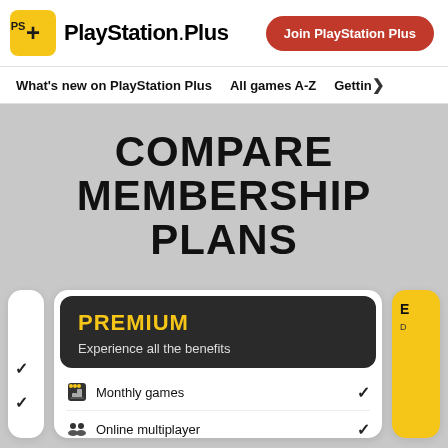PlayStation Plus | Join PlayStation Plus
What's new on PlayStation Plus | All games A-Z | Getting...
COMPARE MEMBERSHIP PLANS
PREMIUM
Experience all the benefits
Monthly games ✓
Online multiplayer ✓